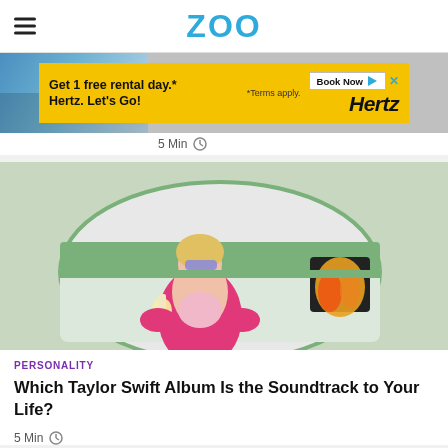ZOO
[Figure (screenshot): Hertz advertisement banner: 'Get 1 free rental day.* Hertz. Let's Go!' with Book Now button and Hertz logo on yellow background]
5 Min
[Figure (photo): Woman in pink fur coat and bikini top with sunglasses holding a drink, standing in front of a vintage trailer with fire in the window - Taylor Swift music video scene]
PERSONALITY
Which Taylor Swift Album Is the Soundtrack to Your Life?
5 Min